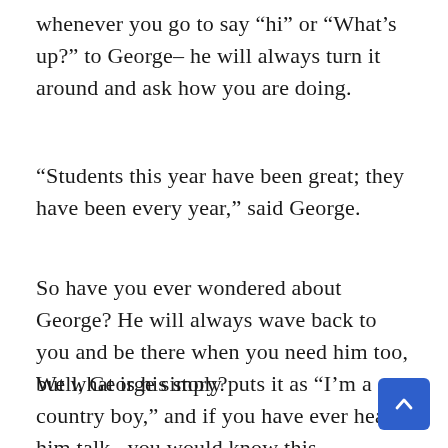whenever you go to say “hi” or “What’s up?” to George– he will always turn it around and ask how you are doing.
“Students this year have been great; they have been every year,” said George.
So have you ever wondered about George? He will always wave back to you and be there when you need him too, but what is his story?
Well, George simply puts it as “I’m a country boy,” and if you have ever heard him talk– you would know this